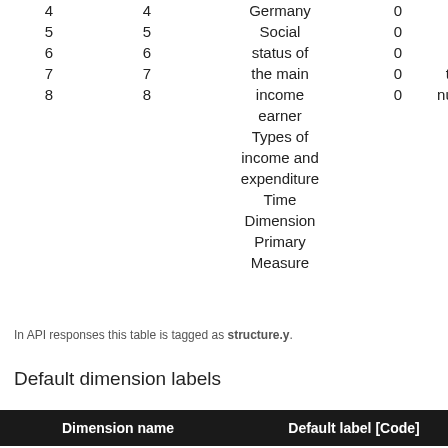|  |  |  | 0 |  |
| --- | --- | --- | --- | --- |
| 4 | 4 | Germany | 0 | - |
| 5 | 5 | Social | 0 | - |
| 6 | 6 | status of | 0 | - |
| 7 | 7 | the main | 0 | time |
| 8 | 8 | income | 0 | numeri |
|  |  | earner |  |  |
|  |  | Types of |  |  |
|  |  | income and |  |  |
|  |  | expenditure |  |  |
|  |  | Time |  |  |
|  |  | Dimension |  |  |
|  |  | Primary |  |  |
|  |  | Measure |  |  |
In API responses this table is tagged as structure.y.
Default dimension labels
| Dimension name | Default label [Code] |
| --- | --- |